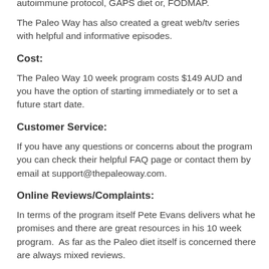Their program is also compatible with those following an autoimmune protocol, GAPS diet or, FODMAP.
The Paleo Way has also created a great web/tv series with helpful and informative episodes.
Cost:
The Paleo Way 10 week program costs $149 AUD and you have the option of starting immediately or to set a future start date.
Customer Service:
If you have any questions or concerns about the program you can check their helpful FAQ page or contact them by email at support@thepaleoway.com.
Online Reviews/Complaints:
In terms of the program itself Pete Evans delivers what he promises and there are great resources in his 10 week program.  As far as the Paleo diet itself is concerned there are always mixed reviews.
Many people experience extremely positive results by cutting out processed foods and grains from their diets.  This leads to weight loss in almost every case, however some people don't function well with low carb diets and there certainly is an adjustment period that